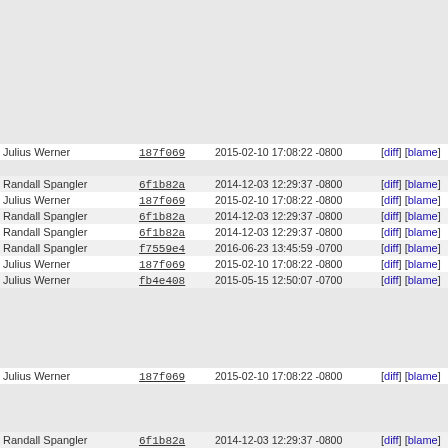| Author | Commit | DateTime | Links | Line |
| --- | --- | --- | --- | --- |
|  |  |  |  | 122 |
|  |  |  |  | 123 |
|  |  |  |  | 124 |
|  |  |  |  | 125 |
|  |  |  |  | 126 |
|  |  |  |  | 127 |
|  |  |  |  | 128 |
|  |  |  |  | 129 |
|  |  |  |  | 130 |
| Julius Werner | 187f069 | 2015-02-10 17:08:22 -0800 | [diff] [blame] | 131 |
|  |  |  |  | 132 |
| Randall Spangler | 6f1b82a | 2014-12-03 12:29:37 -0800 | [diff] [blame] | 133 |
| Julius Werner | 187f069 | 2015-02-10 17:08:22 -0800 | [diff] [blame] | 134 |
| Randall Spangler | 6f1b82a | 2014-12-03 12:29:37 -0800 | [diff] [blame] | 135 |
| Randall Spangler | 6f1b82a | 2014-12-03 12:29:37 -0800 | [diff] [blame] | 136 |
| Randall Spangler | f7559e4 | 2016-06-23 13:45:59 -0700 | [diff] [blame] | 137 |
| Julius Werner | 187f069 | 2015-02-10 17:08:22 -0800 | [diff] [blame] | 138 |
| Julius Werner | fb4e408 | 2015-05-15 12:50:07 -0700 | [diff] [blame] | 139 |
|  |  |  |  | 140 |
|  |  |  |  | 141 |
|  |  |  |  | 142 |
|  |  |  |  | 143 |
|  |  |  |  | 144 |
| Julius Werner | 187f069 | 2015-02-10 17:08:22 -0800 | [diff] [blame] | 145 |
|  |  |  |  | 146 |
|  |  |  |  | 147 |
|  |  |  |  | 148 |
| Randall Spangler | 6f1b82a | 2014-12-03 12:29:37 -0800 | [diff] [blame] | 149 |